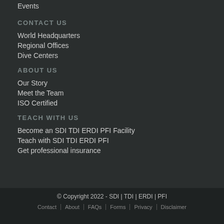Events
CONTACT US
World Headquarters
Regional Offices
Dive Centers
ABOUT US
Our Story
Meet the Team
ISO Certified
TEACH WITH US
Become an SDI TDI ERDI PFI Facility
Teach with SDI TDI ERDI PFI
Get professional insurance
© Copyright 2022 - SDI | TDI | ERDI | PFI
Contact | About | FAQs | Forms | Privacy | Disclaimer